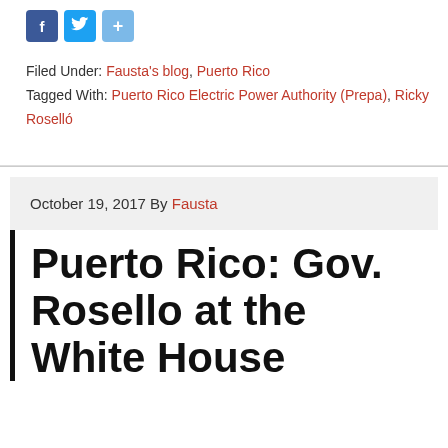[Figure (other): Social media sharing icons: Facebook (blue), Twitter (blue), Share (light blue)]
Filed Under: Fausta's blog, Puerto Rico
Tagged With: Puerto Rico Electric Power Authority (Prepa), Ricky Roselló
October 19, 2017 By Fausta
Puerto Rico: Gov. Rosello at the White House